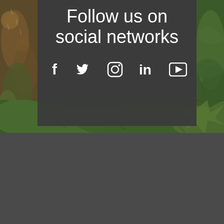[Figure (photo): Close-up photo of green plant leaves with some brownish/rusty tones on the left side, forming a background behind the social media panel. A center-bottom strip shows green leaf detail.]
Follow us on social networks
[Figure (infographic): Row of five white social media icons on dark background: Facebook (f), Twitter (bird), Instagram (camera outline), LinkedIn (in), YouTube (play button triangle in rectangle)]